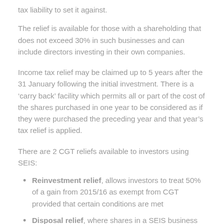tax liability to set it against.
The relief is available for those with a shareholding that does not exceed 30% in such businesses and can include directors investing in their own companies.
Income tax relief may be claimed up to 5 years after the 31 January following the initial investment. There is a ‘carry back’ facility which permits all or part of the cost of the shares purchased in one year to be considered as if they were purchased the preceding year and that year’s tax relief is applied.
There are 2 CGT reliefs available to investors using SEIS:
Reinvestment relief, allows investors to treat 50% of a gain from 2015/16 as exempt from CGT provided that certain conditions are met
Disposal relief, where shares in a SEIS business are